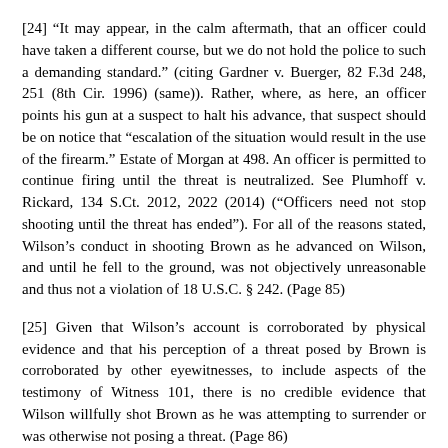[24] “It may appear, in the calm aftermath, that an officer could have taken a different course, but we do not hold the police to such a demanding standard.” (citing Gardner v. Buerger, 82 F.3d 248, 251 (8th Cir. 1996) (same)). Rather, where, as here, an officer points his gun at a suspect to halt his advance, that suspect should be on notice that “escalation of the situation would result in the use of the firearm.” Estate of Morgan at 498. An officer is permitted to continue firing until the threat is neutralized. See Plumhoff v. Rickard, 134 S.Ct. 2012, 2022 (2014) (“Officers need not stop shooting until the threat has ended”). For all of the reasons stated, Wilson’s conduct in shooting Brown as he advanced on Wilson, and until he fell to the ground, was not objectively unreasonable and thus not a violation of 18 U.S.C. § 242. (Page 85)
[25] Given that Wilson’s account is corroborated by physical evidence and that his perception of a threat posed by Brown is corroborated by other eyewitnesses, to include aspects of the testimony of Witness 101, there is no credible evidence that Wilson willfully shot Brown as he was attempting to surrender or was otherwise not posing a threat. (Page 86)
For the reasons set forth above, this matter lacks prosecutive merit and should be closed.